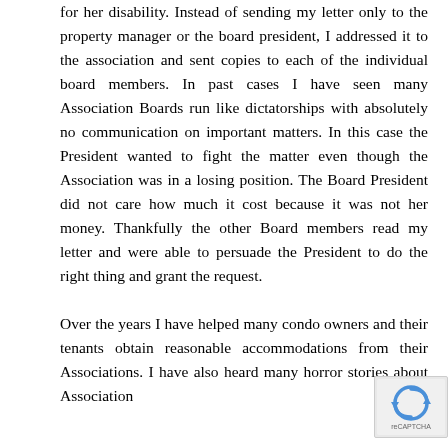for her disability. Instead of sending my letter only to the property manager or the board president, I addressed it to the association and sent copies to each of the individual board members. In past cases I have seen many Association Boards run like dictatorships with absolutely no communication on important matters. In this case the President wanted to fight the matter even though the Association was in a losing position. The Board President did not care how much it cost because it was not her money. Thankfully the other Board members read my letter and were able to persuade the President to do the right thing and grant the request.

Over the years I have helped many condo owners and their tenants obtain reasonable accommodations from their Associations. I have also heard many horror stories about Association